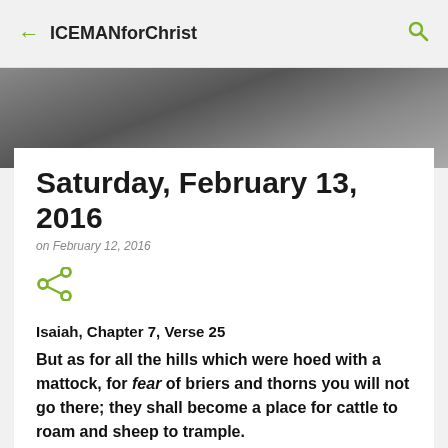ICEMANforChrist
[Figure (screenshot): Dark gradient banner image area representing a blog header photo]
Saturday, February 13, 2016
on February 12, 2016
[Figure (other): Share icon (green)]
Isaiah, Chapter 7, Verse 25
But as for all the hills which were hoed with a mattock, for fear of briers and thorns you will not go there; they shall become a place for cattle to roam and sheep to trample.